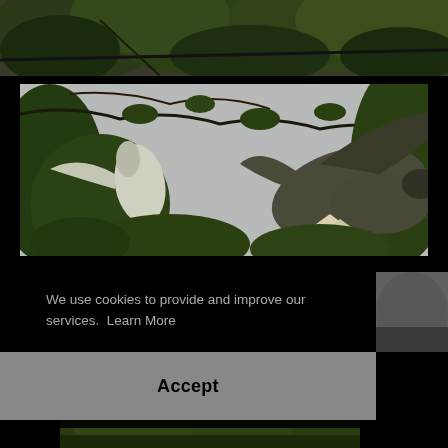[Figure (photo): Top strip showing green tree canopy with dense foliage against a dark background]
[Figure (photo): Large photo of birds (eagles/raptors) among tree branches with spreading wings, overcast sky background]
We use cookies to provide and improve our services.  Learn More
Accept
[Figure (photo): Small bottom strip showing green trees/foliage]